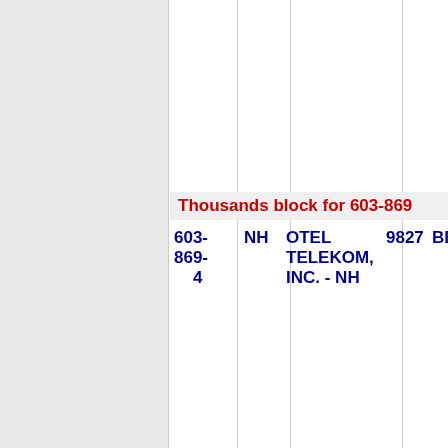Thousands block for 603-869
| NPA-NXX-XXXX | State | Company | ZIP | City |
| --- | --- | --- | --- | --- |
| 603-869-4 | NH | OTEL TELEKOM, INC. - NH | 9827 | BETHLEH... |